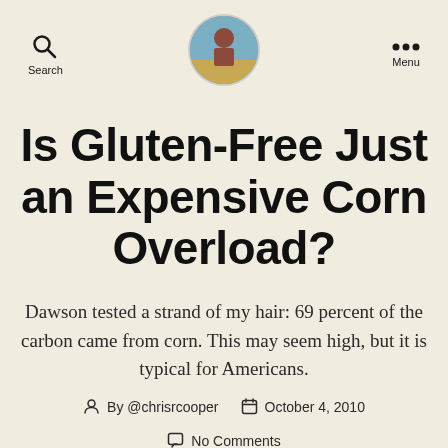Search | [avatar photo] | Menu
Is Gluten-Free Just an Expensive Corn Overload?
Dawson tested a strand of my hair: 69 percent of the carbon came from corn. This may seem high, but it is typical for Americans.
By @chrisrcooper   October 4, 2010
No Comments